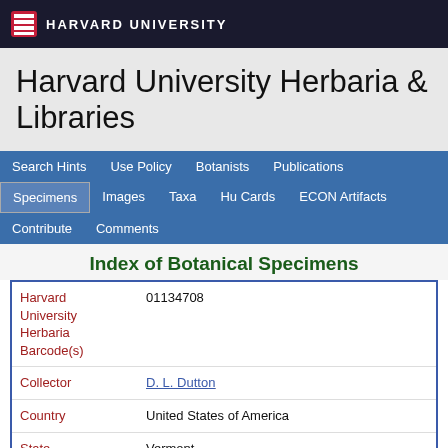HARVARD UNIVERSITY
Harvard University Herbaria & Libraries
Search Hints | Use Policy | Botanists | Publications | Specimens | Images | Taxa | Hu Cards | ECON Artifacts | Contribute | Comments
Index of Botanical Specimens
| Field | Value |
| --- | --- |
| Harvard University Herbaria Barcode(s) | 01134708 |
| Collector | D. L. Dutton |
| Country | United States of America |
| State | Vermont |
| Geography | North America: North America (CA, US, MX) (Region): United States of America: Vermont: Rutland County: Brandon |
| Locality | [data not captured] |